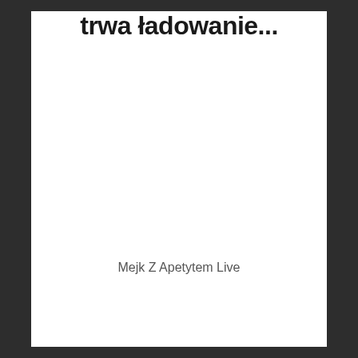trwa ładowanie...
Mejk Z Apetytem Live